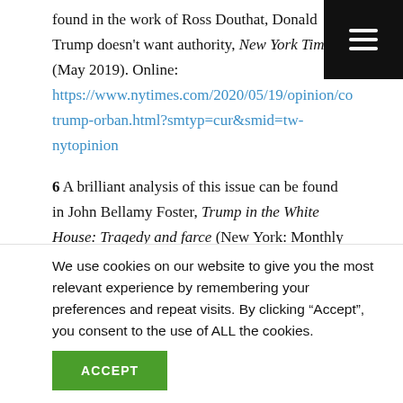found in the work of Ross Douthat, Donald Trump doesn't want authority, New York Times (May 2019). Online: https://www.nytimes.com/2020/05/19/opinion/co trump-orban.html?smtyp=cur&smid=tw-nytopinion
6 A brilliant analysis of this issue can be found in John Bellamy Foster, Trump in the White House: Tragedy and farce (New York: Monthly Review Press, 2018).
7 Cited in Terry Eagleton, Reappraisals: What is the worth of social democracy? Harper's Magazine (October
We use cookies on our website to give you the most relevant experience by remembering your preferences and repeat visits. By clicking "Accept", you consent to the use of ALL the cookies.